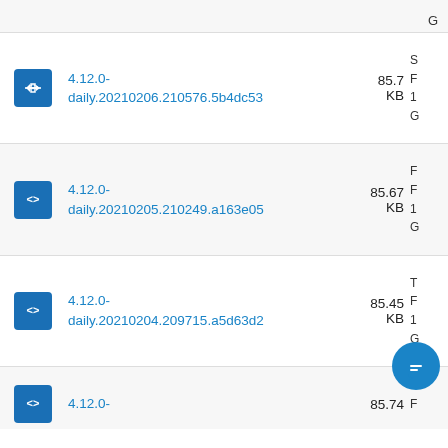4.12.0-daily.20210206.210576.5b4dc53 85.7 KB
4.12.0-daily.20210205.210249.a163e05 85.67 KB
4.12.0-daily.20210204.209715.a5d63d2 85.45 KB
4.12.0- 85.74